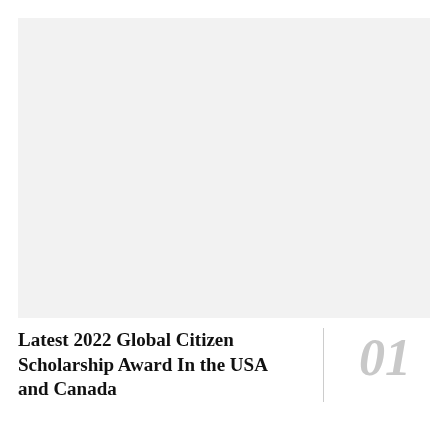[Figure (photo): Large rectangular placeholder image area with light gray background, occupying the upper portion of the page.]
Latest 2022 Global Citizen Scholarship Award In the USA and Canada
01